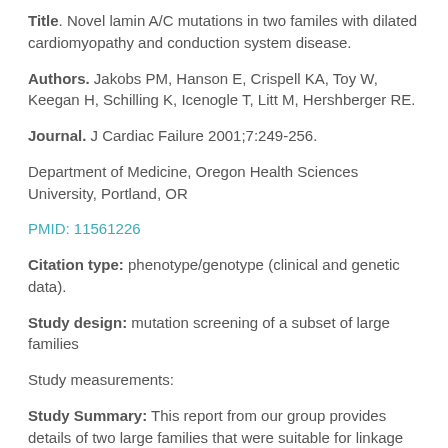Title. Novel lamin A/C mutations in two familes with dilated cardiomyopathy and conduction system disease.
Authors. Jakobs PM, Hanson E, Crispell KA, Toy W, Keegan H, Schilling K, Icenogle T, Litt M, Hershberger RE.
Journal. J Cardiac Failure 2001;7:249-256.
Department of Medicine, Oregon Health Sciences University, Portland, OR
PMID: 11561226
Citation type: phenotype/genotype (clinical and genetic data).
Study design: mutation screening of a subset of large families
Study measurements:
Study Summary: This report from our group provides details of two large families that were suitable for linkage analysis, that were carriers of novel lamin A/C mutations.